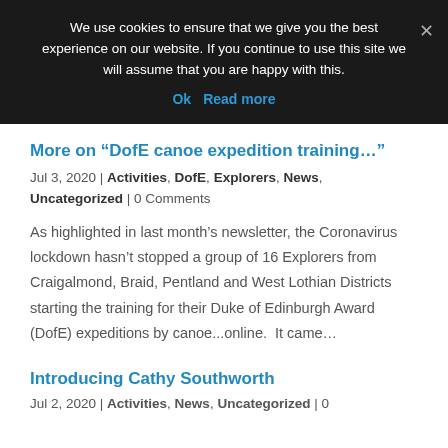We use cookies to ensure that we give you the best experience on our website. If you continue to use this site we will assume that you are happy with this.
Ok  Read more
More on “DofE canoe expedition training…”
Jul 3, 2020 | Activities, DofE, Explorers, News, Uncategorized | 0 Comments
As highlighted in last month’s newsletter, the Coronavirus lockdown hasn’t stopped a group of 16 Explorers from Craigalmond, Braid, Pentland and West Lothian Districts starting the training for their Duke of Edinburgh Award (DofE) expeditions by canoe...online.  It came…
Introducing Cathy Southworth
Jul 2, 2020 | Activities, News, Uncategorized | 0